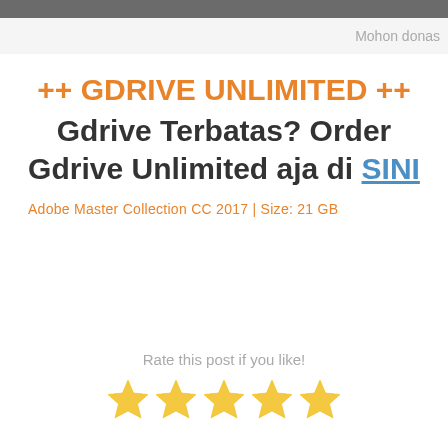Mohon donas
++ GDRIVE UNLIMITED ++
Gdrive Terbatas? Order Gdrive Unlimited aja di SINI
Adobe Master Collection CC 2017 | Size: 21 GB
Rate this post if you like!